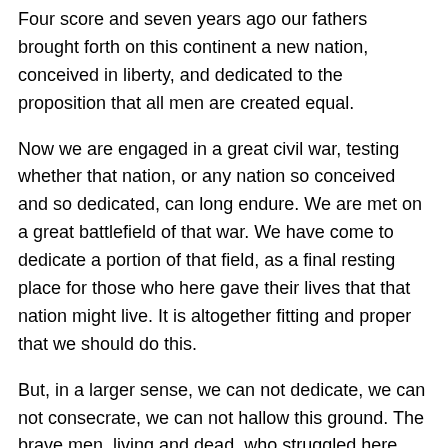Four score and seven years ago our fathers brought forth on this continent a new nation, conceived in liberty, and dedicated to the proposition that all men are created equal.
Now we are engaged in a great civil war, testing whether that nation, or any nation so conceived and so dedicated, can long endure. We are met on a great battlefield of that war. We have come to dedicate a portion of that field, as a final resting place for those who here gave their lives that that nation might live. It is altogether fitting and proper that we should do this.
But, in a larger sense, we can not dedicate, we can not consecrate, we can not hallow this ground. The brave men, living and dead, who struggled here, have consecrated it, far above our poor power to add or detract.